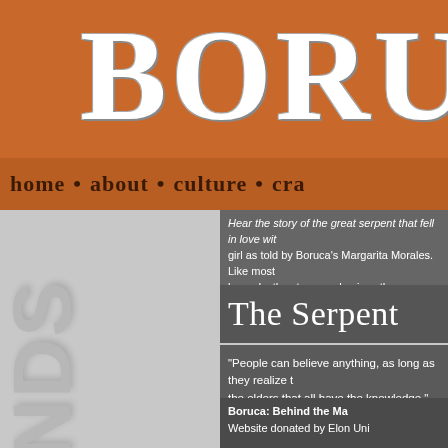BORUC
home • about • culture • cra
Hear the story of the great serpent that fell in love with a girl as told by Boruca's Margarita Morales. Like most legends, the story emphasizes the importance of resp nature.
The Serpent
"People can believe anything, as long as they realize the elders that all have the knowledge."
Boruca: Behind the Ma Website donated by Elon Uni